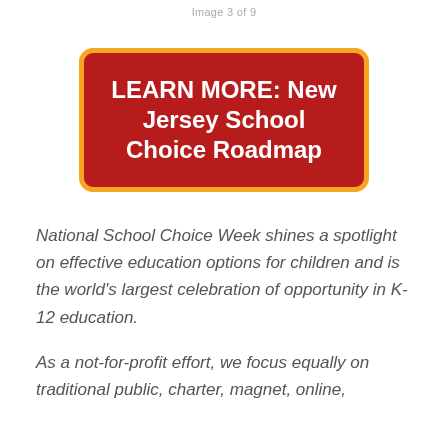Image 3 of 9
[Figure (other): Red button with orange border reading LEARN MORE: New Jersey School Choice Roadmap]
National School Choice Week shines a spotlight on effective education options for children and is the world’s largest celebration of opportunity in K-12 education.
As a not-for-profit effort, we focus equally on traditional public, charter, magnet, online,